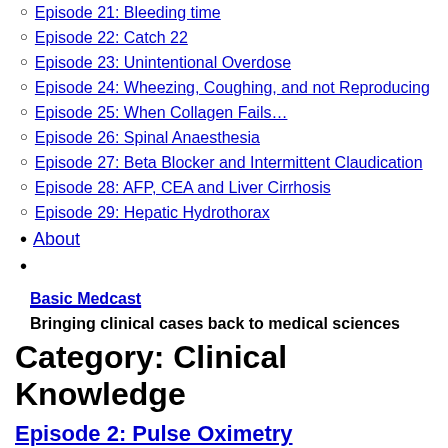Episode 21: Bleeding time
Episode 22: Catch 22
Episode 23: Unintentional Overdose
Episode 24: Wheezing, Coughing, and not Reproducing
Episode 25: When Collagen Fails…
Episode 26: Spinal Anaesthesia
Episode 27: Beta Blocker and Intermittent Claudication
Episode 28: AFP, CEA and Liver Cirrhosis
Episode 29: Hepatic Hydrothorax
About
Basic Medcast
Bringing clinical cases back to medical sciences
Category: Clinical Knowledge
Episode 2: Pulse Oximetry